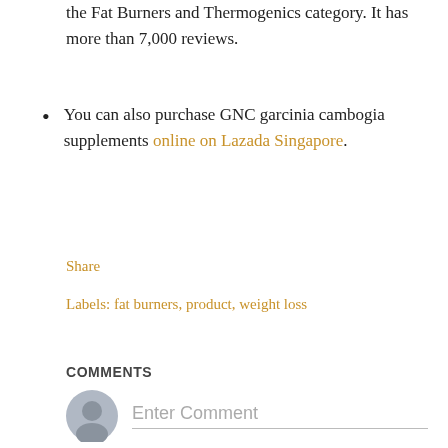the Fat Burners and Thermogenics category. It has more than 7,000 reviews.
You can also purchase GNC garcinia cambogia supplements online on Lazada Singapore.
Share
Labels: fat burners, product, weight loss
COMMENTS
Enter Comment